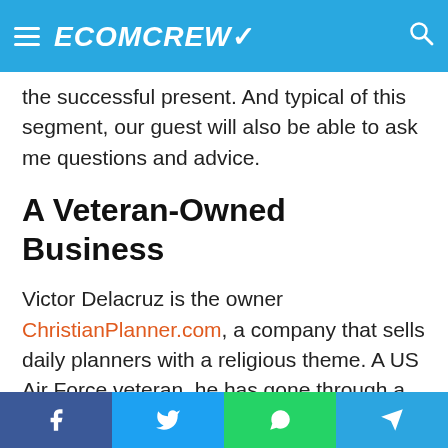ECOMCREW
the successful present. And typical of this segment, our guest will also be able to ask me questions and advice.
A Veteran-Owned Business
Victor Delacruz is the owner ChristianPlanner.com, a company that sells daily planners with a religious theme. A US Air Force veteran, he has gone through a multitude of challenges as an ecommerce entrepreneur